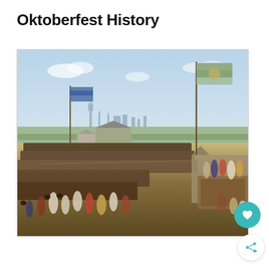Oktoberfest History
[Figure (illustration): A historical painting of the early Oktoberfest festival showing a large crowd of people gathered on a field, with flags raised on poles, tents or pavilions in the background, and a panoramic view of Munich's skyline in the far distance under a light blue sky.]